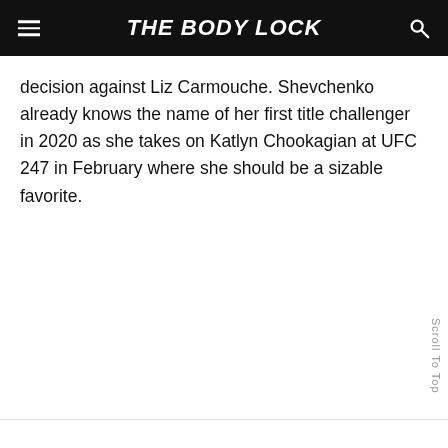THE BODY LOCK
decision against Liz Carmouche. Shevchenko already knows the name of her first title challenger in 2020 as she takes on Katlyn Chookagian at UFC 247 in February where she should be a sizable favorite.